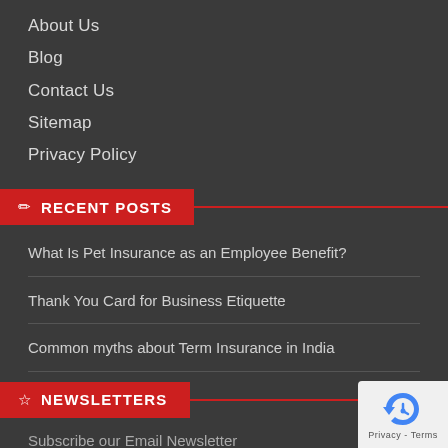About Us
Blog
Contact Us
Sitemap
Privacy Policy
RECENT POSTS
What Is Pet Insurance as an Employee Benefit?
Thank You Card for Business Etiquette
Common myths about Term Insurance in India
NEWSLETTERS
Subscribe our Email Newsletter